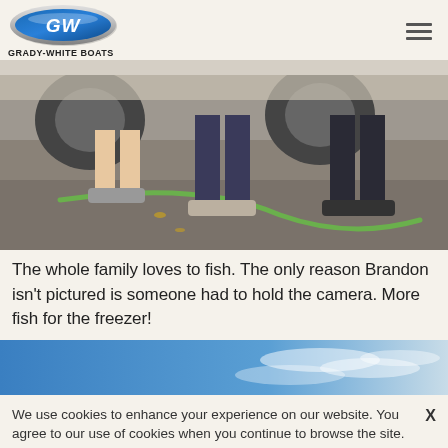[Figure (logo): Grady-White Boats oval logo with GW letters in blue and silver]
GRADY-WHITE BOATS
[Figure (photo): Photo showing the lower bodies and feet of three people standing on concrete/gravel ground near a vehicle, with a green hose visible. People are wearing sneakers and casual clothing.]
The whole family loves to fish. The only reason Brandon isn't pictured is someone had to hold the camera. More fish for the freezer!
[Figure (photo): Partial view of a blue sky with clouds, appearing as a strip/preview of the next image]
We use cookies to enhance your experience on our website. You agree to our use of cookies when you continue to browse the site. Review our Privacy Policy for more information.